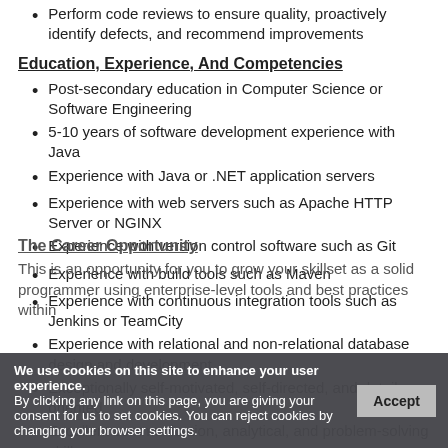Perform code reviews to ensure quality, proactively identify defects, and recommend improvements
Education, Experience, And Competencies
Post-secondary education in Computer Science or Software Engineering
5-10 years of software development experience with Java
Experience with Java or .NET application servers
Experience with web servers such as Apache HTTP Server or NGINX
Experience with version control software such as Git
Experience with build tools such as Maven
Experience with continuous integration tools such as Jenkins or TeamCity
Experience with relational and non-relational database design and development
Exceptionally self-motivated, self-directed, and detail-oriented
Excellent communication, analytical, and problem-solving skills
The Career Opportunity
This is an opportunity for you to grow your skillset as a solid programmer using enterprise-level tools and best practices within